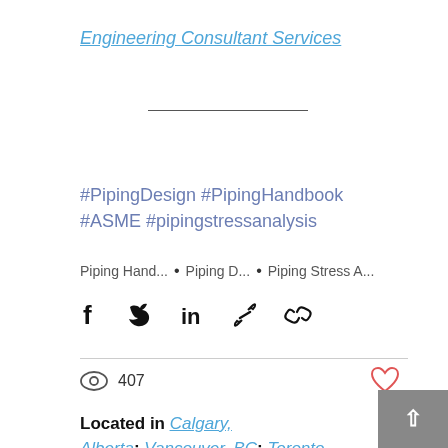Engineering Consultant Services
#PipingDesign #PipingHandbook #ASME #pipingstressanalysis
Piping Hand...  •  Piping D...  •  Piping Stress A...
407 views, like button
Located in Calgary, Alberta; Vancouver, BC; Toronto, Ontario; Edmonton, Alberta; Houston